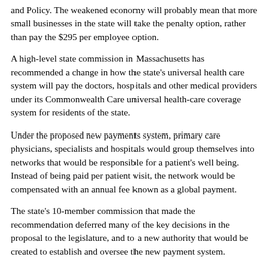and Policy. The weakened economy will probably mean that more small businesses in the state will take the penalty option, rather than pay the $295 per employee option.
A high-level state commission in Massachusetts has recommended a change in how the state's universal health care system will pay the doctors, hospitals and other medical providers under its Commonwealth Care universal health-care coverage system for residents of the state.
Under the proposed new payments system, primary care physicians, specialists and hospitals would group themselves into networks that would be responsible for a patient's well being. Instead of being paid per patient visit, the network would be compensated with an annual fee known as a global payment.
The state's 10-member commission that made the recommendation deferred many of the key decisions in the proposal to the legislature, and to a new authority that would be created to establish and oversee the new payment system.
The commission recommended that the changes be phased in over a five-year period of time, but that the state would not set the payment rates, which would be negotiated by the insurers and the newly created networks. It made no projections as to what the cost